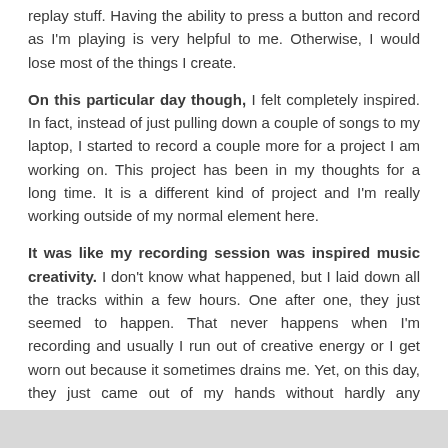replay stuff.  Having the ability to press a button and record as I'm playing is very helpful to me.  Otherwise, I would lose most of the things I create.
On this particular day though, I felt completely inspired.  In fact, instead of just pulling down a couple of songs to my laptop, I started to record a couple more for a project I am working on.  This project has been in my thoughts for a long time.  It is a different kind of project and I'm really working outside of my normal element here.
It was like my recording session was inspired music creativity.  I don't know what happened, but I laid down all the tracks within a few hours.  One after one, they just seemed to happen.  That never happens when I'm recording and usually I run out of creative energy or I get worn out because it sometimes drains me.  Yet, on this day, they just came out of my hands without hardly any problems or major errors.  In fact, the music sounded perfect for the project I'm working on.